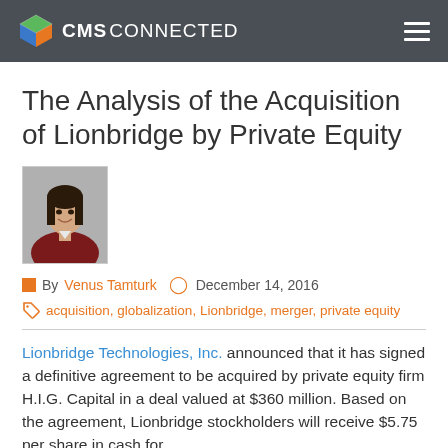CMS CONNECTED
The Analysis of the Acquisition of Lionbridge by Private Equity
[Figure (photo): Author photo of Venus Tamturk, a woman with long dark hair wearing a dark red blazer, smiling.]
By Venus Tamturk   December 14, 2016
acquisition, globalization, Lionbridge, merger, private equity
Lionbridge Technologies, Inc. announced that it has signed a definitive agreement to be acquired by private equity firm H.I.G. Capital in a deal valued at $360 million. Based on the agreement, Lionbridge stockholders will receive $5.75 per share in cash for